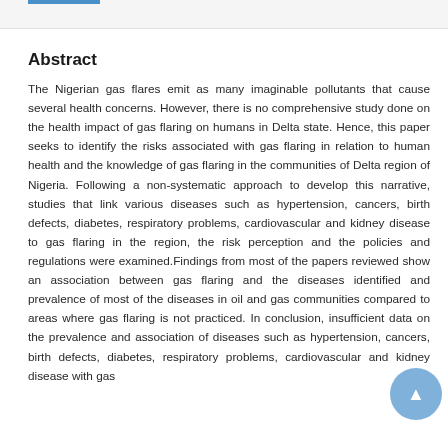Abstract
The Nigerian gas flares emit as many imaginable pollutants that cause several health concerns. However, there is no comprehensive study done on the health impact of gas flaring on humans in Delta state. Hence, this paper seeks to identify the risks associated with gas flaring in relation to human health and the knowledge of gas flaring in the communities of Delta region of Nigeria. Following a non-systematic approach to develop this narrative, studies that link various diseases such as hypertension, cancers, birth defects, diabetes, respiratory problems, cardiovascular and kidney disease to gas flaring in the region, the risk perception and the policies and regulations were examined.Findings from most of the papers reviewed show an association between gas flaring and the diseases identified and prevalence of most of the diseases in oil and gas communities compared to areas where gas flaring is not practiced. In conclusion, insufficient data on the prevalence and association of diseases such as hypertension, cancers, birth defects, diabetes, respiratory problems, cardiovascular and kidney disease with gas